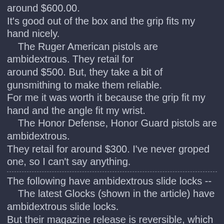around $600.00.
It's good out of the box and the grip fits my hand nicely.
    The Ruger American pistols are ambidextrous.  They retail for
around $500.  But, they take a bit of gunsmithing to make them reliable.
For me it was worth it because the grip fit my hand and the angle fit my wrist.
    The Honor Defense, Honor Guard pistols are ambidextrous.
They retail for around $300.  I've never groped one, so I can't say anything.
The following have ambidextrous slide locks --
    The latest Glocks (shown in the article) have ambidextrous slide locks.
But their magazine release is reversible, which means you can make it right
handed or left handed.  That's not the same as ambidextrous.
    The latest Walthers have ambidextrous slide locks.  But their magazine